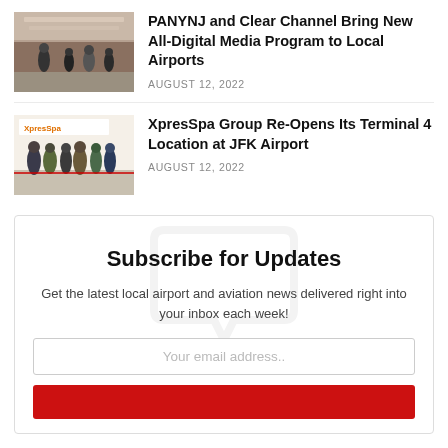PANYNJ and Clear Channel Bring New All-Digital Media Program to Local Airports
AUGUST 12, 2022
[Figure (photo): Airport interior with people walking through terminal]
XpresSpa Group Re-Opens Its Terminal 4 Location at JFK Airport
AUGUST 12, 2022
[Figure (photo): Group of people standing in front of XpresSpa store for ribbon cutting]
Subscribe for Updates
Get the latest local airport and aviation news delivered right into your inbox each week!
Your email address..